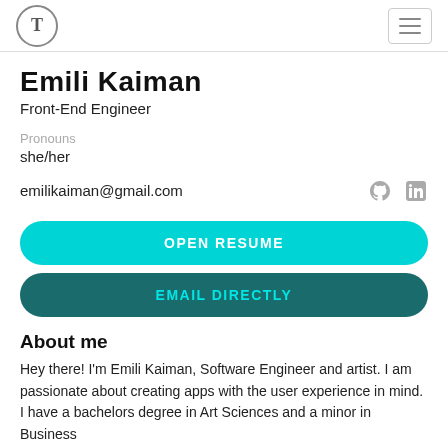T [logo] [hamburger menu]
Emili Kaiman
Front-End Engineer
Pronouns
she/her
emilikaiman@gmail.com
[Figure (logo): GitHub icon and LinkedIn icon]
OPEN RESUME
EMAIL DIRECTLY
About me
Hey there! I'm Emili Kaiman, Software Engineer and artist. I am passionate about creating apps with the user experience in mind. I have a bachelors degree in Art Sciences and a minor in Business